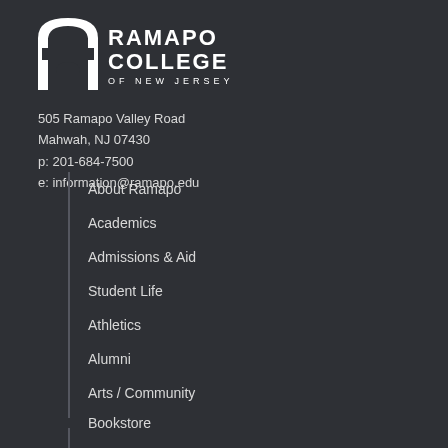[Figure (logo): Ramapo College of New Jersey logo — white arch/building icon on left, with 'RAMAPO COLLEGE OF NEW JERSEY' text in white bold letters on dark background]
505 Ramapo Valley Road
Mahwah, NJ 07430
p: 201-684-7500
e: information@ramapo.edu
About Ramapo
Academics
Admissions & Aid
Student Life
Athletics
Alumni
Arts / Community
Bookstore
Jobs
Intranet
Web Self-Service